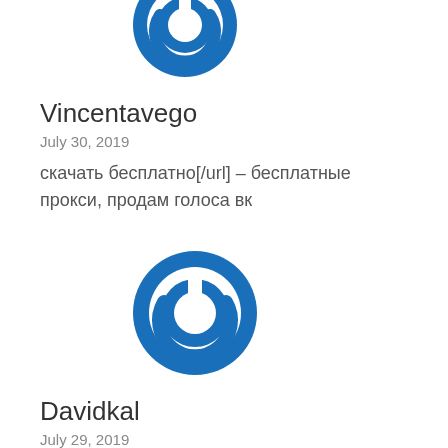[Figure (logo): Blue circular power button icon for user Vincentavego]
Vincentavego
July 30, 2019
скачать бесплатно[/url] – бесплатные прокси, продам голоса вк
[Figure (logo): Blue circular power button icon for user Davidkal]
Davidkal
July 29, 2019
завидный вебресурс